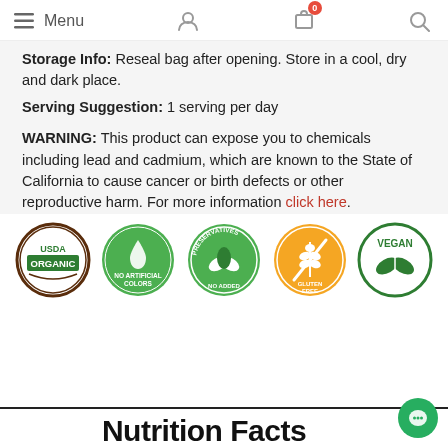Menu
Storage Info: Reseal bag after opening. Store in a cool, dry and dark place.
Serving Suggestion: 1 serving per day
WARNING: This product can expose you to chemicals including lead and cadmium, which are known to the State of California to cause cancer or birth defects or other reproductive harm. For more information click here.
[Figure (logo): Five certification badges in a row: USDA Organic (brown/green circle), No Artificial Colors (green circle with water drop), Preservatives No Added (green circle with leaves), Gluten Free (orange circle with wheat), Vegan (dark green circle with leaves)]
Nutrition Facts